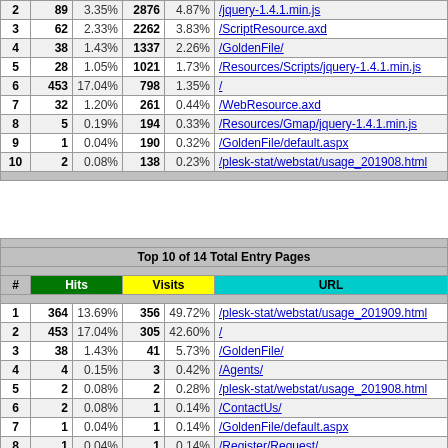| # | Hits |  | Visits |  | URL |
| --- | --- | --- | --- | --- | --- |
| 2 | 89 | 3.35% | 2876 | 4.87% | /jquery-1.4.1.min.js |
| 3 | 62 | 2.33% | 2262 | 3.83% | /ScriptResource.axd |
| 4 | 38 | 1.43% | 1337 | 2.26% | /GoldenFile/ |
| 5 | 28 | 1.05% | 1021 | 1.73% | /Resources/Scripts/jquery-1.4.1.min.js |
| 6 | 453 | 17.04% | 798 | 1.35% | / |
| 7 | 32 | 1.20% | 261 | 0.44% | /WebResource.axd |
| 8 | 5 | 0.19% | 194 | 0.33% | /Resources/Gmap/jquery-1.4.1.min.js |
| 9 | 1 | 0.04% | 190 | 0.32% | /GoldenFile/default.aspx |
| 10 | 2 | 0.08% | 138 | 0.23% | /plesk-stat/webstat/usage_201908.html |
| # | Hits |  | Visits |  | URL |
| --- | --- | --- | --- | --- | --- |
| 1 | 364 | 13.69% | 356 | 49.72% | /plesk-stat/webstat/usage_201909.html |
| 2 | 453 | 17.04% | 305 | 42.60% | / |
| 3 | 38 | 1.43% | 41 | 5.73% | /GoldenFile/ |
| 4 | 4 | 0.15% | 3 | 0.42% | /Agents/ |
| 5 | 2 | 0.08% | 2 | 0.28% | /plesk-stat/webstat/usage_201908.html |
| 6 | 2 | 0.08% | 1 | 0.14% | /ContactUs/ |
| 7 | 1 | 0.04% | 1 | 0.14% | /GoldenFile/default.aspx |
| 8 | 1 | 0.04% | 1 | 0.14% | /Register/Request/ |
| 9 | 1 | 0.04% | 1 | 0.14% | /Register/Request/default.aspx |